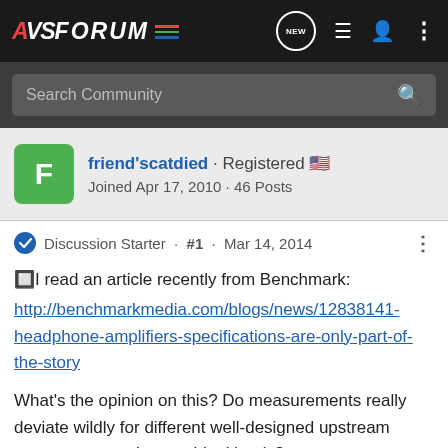AVSForum
Search Community
friend'scatdied · Registered
Joined Apr 17, 2010 · 46 Posts
Discussion Starter · #1 · Mar 14, 2014
🔲I read an article recently from Benchmark:
http://benchmarkmedia.com/blogs/news/12838141-headphone-amplifiers-specifications-are-only-part-of-the-story

What's the opinion on this? Do measurements really deviate wildly for different well-designed upstream components under non-ideal loads?